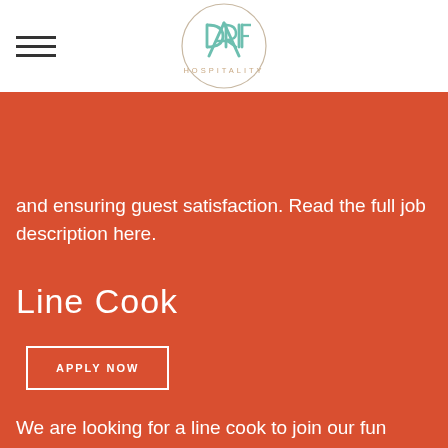[Figure (logo): Adrift Hospitality circular logo with teal/green line art lettering]
and ensuring guest satisfaction. Read the full job description here.
Line Cook
APPLY NOW
We are looking for a line cook to join our fun back-of-house team at our restaurants, Pickled Fish & Shelburne Pub! Work with a great crew to execute our interesting and fun menu. Experience,